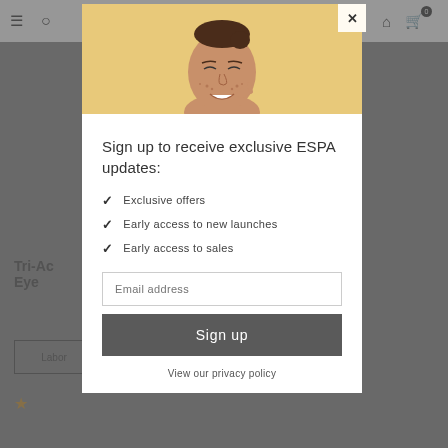[Figure (screenshot): Website screenshot background: navigation bar with hamburger menu, search, account and cart icons, greyed out product page showing partially visible text 'Tri-Ac' and 'Eye', a 'Labor' button, and a gold star rating]
[Figure (photo): Modal popup with image of a smiling woman with freckles touching her face against a warm yellow/peach background]
Sign up to receive exclusive ESPA updates:
Exclusive offers
Early access to new launches
Early access to sales
Email address
Sign up
View our privacy policy